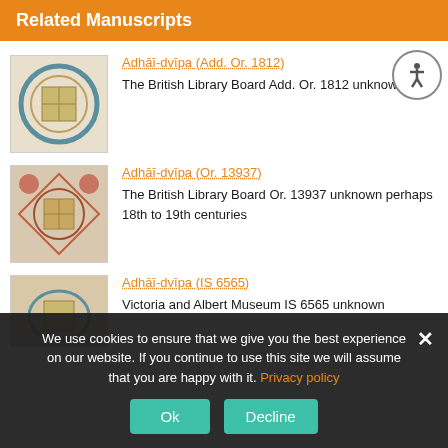Related Manuscripts
Adhāī-dvīpa (Add. Or. 1812)
The British Library Board Add. Or. 1812 unknown 1891
Adhāī-dvīpa (Or. 13937)
The British Library Board Or. 13937 unknown perhaps 18th to 19th centuries
Adhāī-dvīpa (IS 6565)
Victoria and Albert Museum IS 6565 unknown
We use cookies to ensure that we give you the best experience on our website. If you continue to use this site we will assume that you are happy with it. Privacy policy
Ok
Decline